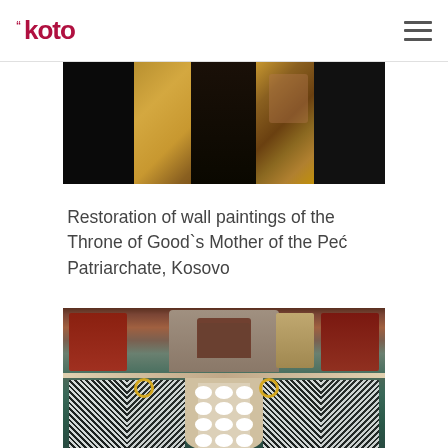koto
[Figure (photo): Partial view of an ornate golden throne or reliquary inside a church, with wall paintings visible, against a dark background.]
Restoration of wall paintings of the Throne of Good`s Mother of the Peć Patriarchate, Kosovo
[Figure (photo): Byzantine wall fresco showing religious figures and saints in a curved apse. Upper register shows figures around a central throne structure; lower register shows saints in black-and-white robes flanking a Romanesque window with circular openings.]